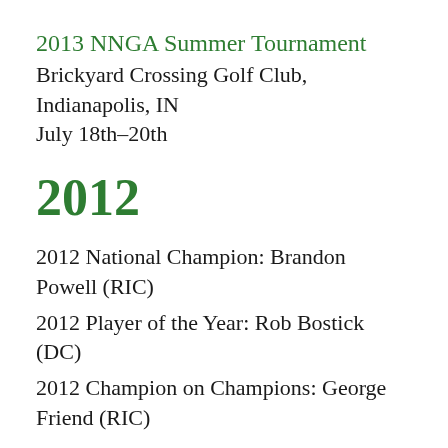2013 NNGA Summer Tournament
Brickyard Crossing Golf Club, Indianapolis, IN
July 18th–20th
2012
2012 National Champion: Brandon Powell (RIC)
2012 Player of the Year: Rob Bostick (DC)
2012 Champion on Champions: George Friend (RIC)